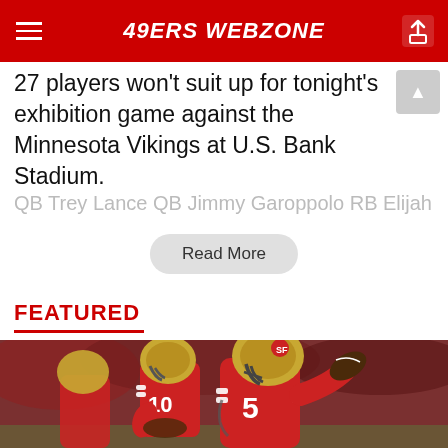49ERS WEBZONE
27 players won't suit up for tonight's exhibition game against the Minnesota Vikings at U.S. Bank Stadium.
QB Trey Lance QB Jimmy Garoppolo RB Elijah Mitchell
Read More
FEATURED
[Figure (photo): Two San Francisco 49ers quarterbacks in red uniforms and gold helmets on the field. Player #5 (Trey Lance) is in the foreground holding a football, player #10 (Jimmy Garoppolo) is in the background.]